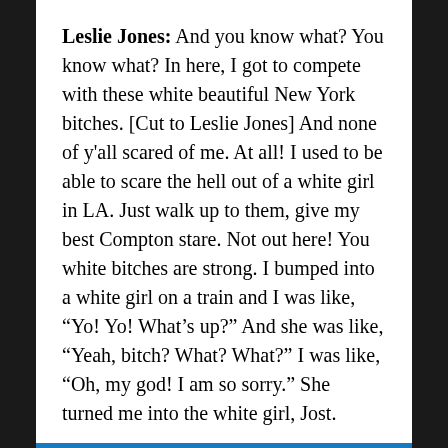Leslie Jones: And you know what? You know what? In here, I got to compete with these white beautiful New York bitches. [Cut to Leslie Jones] And none of y'all scared of me. At all! I used to be able to scare the hell out of a white girl in LA. Just walk up to them, give my best Compton stare. Not out here! You white bitches are strong. I bumped into a white girl on a train and I was like, “Yo! Yo! What’s up?” And she was like, “Yeah, bitch? What? What?” I was like, “Oh, my god! I am so sorry.” She turned me into the white girl, Jost.